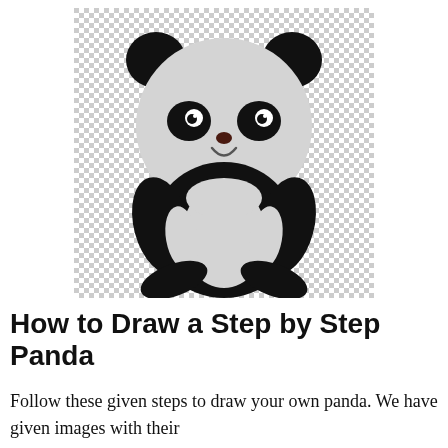[Figure (illustration): A cute cartoon panda sitting upright, facing forward, with black ears, black eye patches, a small brown nose, smiling mouth, black arms/body with white belly, and black feet. The panda is on a transparent (checkerboard) background.]
How to Draw a Step by Step Panda
Follow these given steps to draw your own panda. We have given images with their